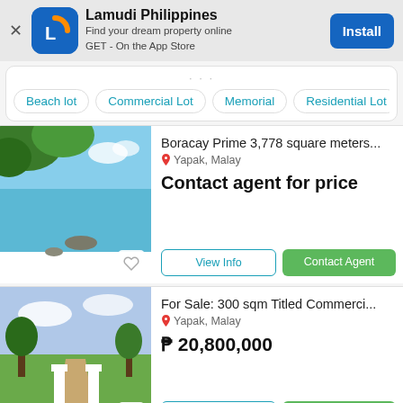[Figure (screenshot): Lamudi Philippines app install banner with blue icon showing L logo, app name, tagline, and Install button]
Beach lot   Commercial Lot   Memorial   Residential Lot
Boracay Prime 3,778 square meters...
Yapak, Malay
Contact agent for price
[Figure (photo): Beach property listing photo showing tropical beach with turquoise water and green foliage]
For Sale: 300 sqm Titled Commerci...
Yapak, Malay
₱ 20,800,000
[Figure (photo): Commercial lot listing photo showing a driveway with white pillars and tropical trees]